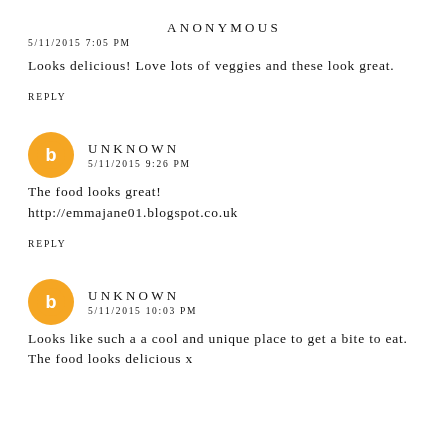ANONYMOUS
5/11/2015 7:05 PM
Looks delicious! Love lots of veggies and these look great.
REPLY
[Figure (logo): Orange circular Blogger avatar icon]
UNKNOWN
5/11/2015 9:26 PM
The food looks great!
http://emmajane01.blogspot.co.uk
REPLY
[Figure (logo): Orange circular Blogger avatar icon]
UNKNOWN
5/11/2015 10:03 PM
Looks like such a a cool and unique place to get a bite to eat. The food looks delicious x